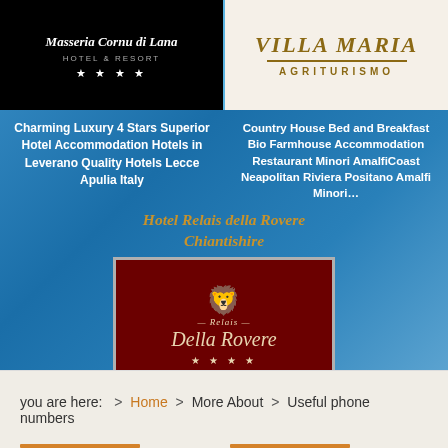[Figure (logo): Masseria Cornu di Lana Hotel 4 star resort logo on black background with stars]
[Figure (logo): Villa Maria Agriturismo logo on cream background with golden text and decorative line]
Charming Luxury 4 Stars Superior Hotel Accommodation Hotels in Leverano Quality Hotels Lecce Apulia Italy
Country House Bed and Breakfast Bio Farmhouse Accommodation Restaurant Minori AmalfiCoast Neapolitan Riviera Positano Amalfi Minori...
Hotel Relais della Rovere Chiantishire
[Figure (logo): Hotel Relais Della Rovere dark red logo with crest and italic script on dark red background with stars]
Charming Luxury 4 Stars Hotel Accommodation Relais Restaurant Colle di Val d'Elsa Siena Chiatishire Tuscany Italy
you are here:  >  Home  >  More About  >  Useful phone numbers